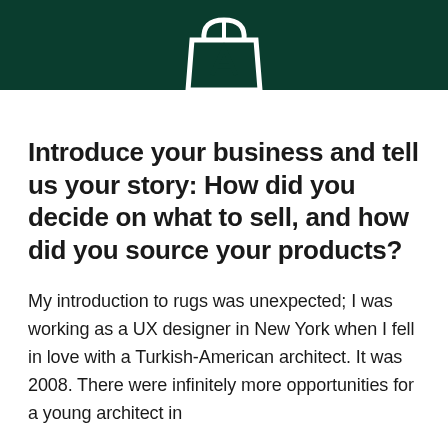[Figure (logo): White shopping bag icon with letter A on dark green header bar]
Introduce your business and tell us your story: How did you decide on what to sell, and how did you source your products?
My introduction to rugs was unexpected; I was working as a UX designer in New York when I fell in love with a Turkish-American architect. It was 2008. There were infinitely more opportunities for a young architect in